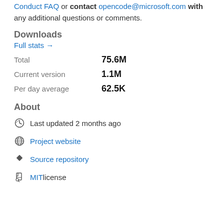Conduct FAQ or contact opencode@microsoft.com with any additional questions or comments.
Downloads
Full stats →
Total   75.6M
Current version   1.1M
Per day average   62.5K
About
Last updated 2 months ago
Project website
Source repository
MIT license